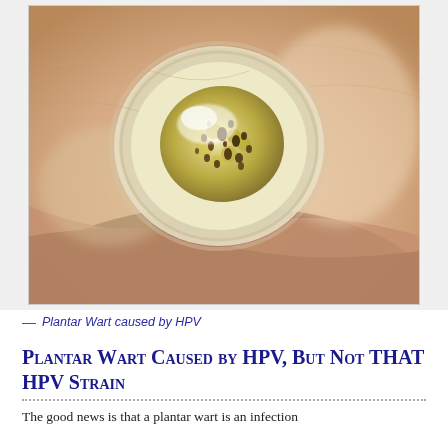[Figure (photo): Close-up macro photograph of a plantar wart on human skin. The wart appears as a rough, bumpy, translucent yellowish growth with dark brown specks (clotted blood vessels) at its center, surrounded by thickened white skin tissue on a peach/skin-tone background.]
— Plantar Wart caused by HPV
Plantar Wart Caused by HPV, But Not THAT HPV Strain
The good news is that a plantar wart is an infection